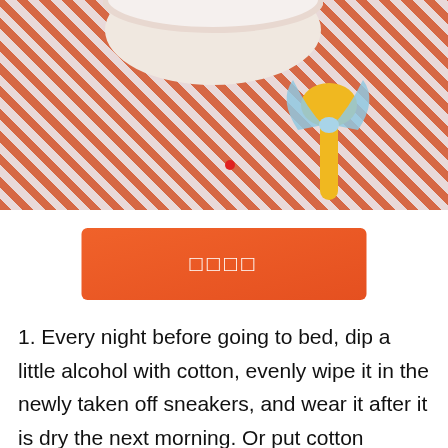[Figure (photo): Photo of a white bowl on an orange checkered tablecloth with a yellow spoon tied with a light blue ribbon]
[Figure (other): Orange button with white Chinese characters]
1. Every night before going to bed, dip a little alcohol with cotton, evenly wipe it in the newly taken off sneakers, and wear it after it is dry the next morning. Or put cotton stained with alcohol in sports shoes and take away the odor in sports shoes by taking